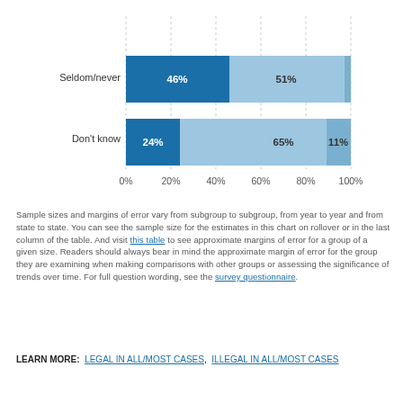[Figure (stacked-bar-chart): Frequency of church attendance by views on marijuana]
Sample sizes and margins of error vary from subgroup to subgroup, from year to year and from state to state. You can see the sample size for the estimates in this chart on rollover or in the last column of the table. And visit this table to see approximate margins of error for a group of a given size. Readers should always bear in mind the approximate margin of error for the group they are examining when making comparisons with other groups or assessing the significance of trends over time. For full question wording, see the survey questionnaire.
LEARN MORE: LEGAL IN ALL/MOST CASES, ILLEGAL IN ALL/MOST CASES